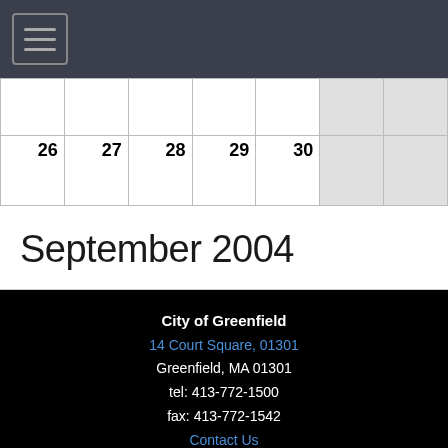Navigation menu (hamburger icon)
|  |  |  |  |  |  |  |
| 26 | 27 | 28 | 29 | 30 |  |  |
September 2004
City of Greenfield
14 Court Square, 01301
Greenfield, MA 01301
tel: 413-772-1500
fax: 413-772-1542
Contact Us
Contact Webmaster